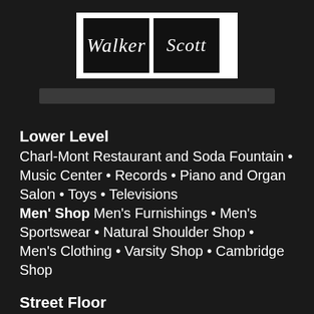[Figure (logo): Walker Scott store logo — two black square panels side by side in a white border frame, with 'Walker' in cursive script on the left panel and 'Scott' in cursive script on the right panel]
Lower Level
Charl-Mont Restaurant and Soda Fountain • Music Center • Records • Piano and Organ Salon • Toys • Televisions Men' Shop Men's Furnishings • Men's Sportswear • Natural Shoulder Shop • Men's Clothing • Varsity Shop • Cambridge Shop
Street Floor
Fine Jewelry • Fine Silver • Watches • Clocks • Costume